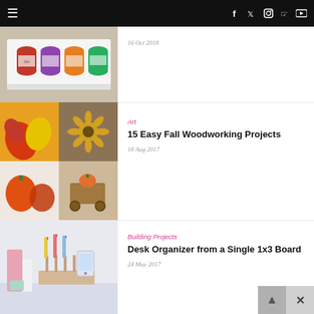≡   f  t  ◻  ◻  ▶
16 Oct 2018
[Figure (photo): Pantry shelf with canned goods organized in a white pull-out drawer]
[Figure (photo): Collage of fall woodworking projects including sunflower decorations, a wooden cart with pumpkin, and wooden autumn shapes]
Art
15 Easy Fall Woodworking Projects
18 Aug 2017
[Figure (photo): Desk organizer made from a single 1x3 board with pencils and a phone holder]
Building Projects
Desk Organizer from a Single 1x3 Board
24 May 2017